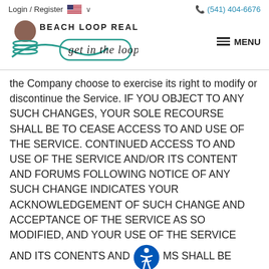Login / Register  (541) 404-6676
[Figure (logo): Beach Loop Realty logo with tagline 'get in the loop' and MENU hamburger icon]
the Company choose to exercise its right to modify or discontinue the Service. IF YOU OBJECT TO ANY SUCH CHANGES, YOUR SOLE RECOURSE SHALL BE TO CEASE ACCESS TO AND USE OF THE SERVICE. CONTINUED ACCESS TO AND USE OF THE SERVICE AND/OR ITS CONTENT AND FORUMS FOLLOWING NOTICE OF ANY SUCH CHANGE INDICATES YOUR ACKNOWLEDGEMENT OF SUCH CHANGE AND ACCEPTANCE OF THE SERVICE AS SO MODIFIED, AND YOUR USE OF THE SERVICE AND ITS CONENTS AND FORUMS SHALL BE GOVERNED BY THE UPDATED TERMS.